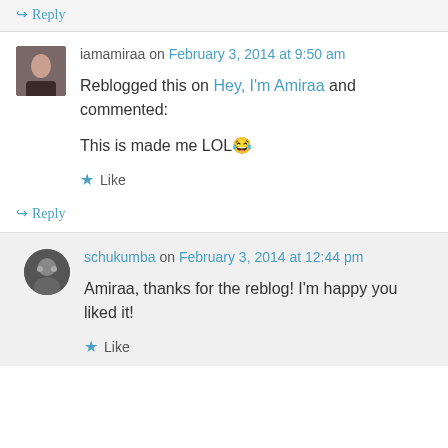↪ Reply
iamamiraa on February 3, 2014 at 9:50 am
Reblogged this on Hey, I'm Amiraa and commented:
This is made me LOL 😂
★ Like
↪ Reply
schukumba on February 3, 2014 at 12:44 pm
Amiraa, thanks for the reblog! I'm happy you liked it!
★ Like